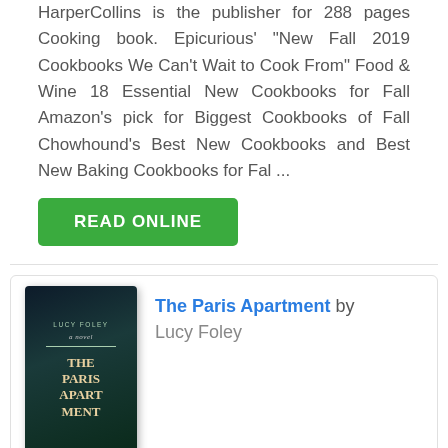HarperCollins is the publisher for 288 pages Cooking book. Epicurious' "New Fall 2019 Cookbooks We Can't Wait to Cook From" Food & Wine 18 Essential New Cookbooks for Fall Amazon's pick for Biggest Cookbooks of Fall Chowhound's Best New Cookbooks and Best New Baking Cookbooks for Fal ...
[Figure (other): Green READ ONLINE button]
[Figure (illustration): Book cover of 'The Paris Apartment' by Lucy Foley, dark teal/green color with building illustration]
The Paris Apartment by Lucy Foley
The Paris Apartment book by Lucy Foley HarperCollins is the